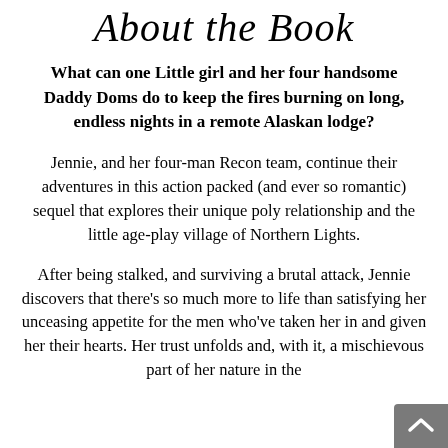About the Book
What can one Little girl and her four handsome Daddy Doms do to keep the fires burning on long, endless nights in a remote Alaskan lodge?
Jennie, and her four-man Recon team, continue their adventures in this action packed (and ever so romantic) sequel that explores their unique poly relationship and the little age-play village of Northern Lights.
After being stalked, and surviving a brutal attack, Jennie discovers that there's so much more to life than satisfying her unceasing appetite for the men who've taken her in and given her their hearts. Her trust unfolds and, with it, a mischievous part of her nature in the